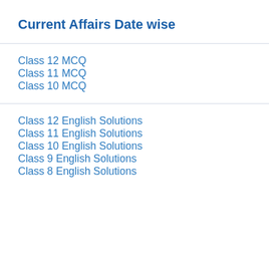Current Affairs Date wise
Class 12 MCQ
Class 11 MCQ
Class 10 MCQ
Class 12 English Solutions
Class 11 English Solutions
Class 10 English Solutions
Class 9 English Solutions
Class 8 English Solutions